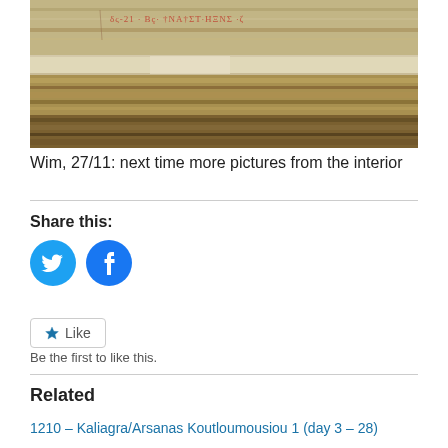[Figure (photo): Photograph of an ancient stone wall with inscribed text visible in reddish coloring near the top of the stone surface. The stone has layered, weathered texture in tan and brown tones.]
Wim, 27/11: next time more pictures from the interior
Share this:
[Figure (other): Social sharing icons: Twitter (blue circle with bird icon) and Facebook (blue circle with f icon)]
Like
Be the first to like this.
Related
1210 – Kaliagra/Arsanas Koutloumousiou 1 (day 3 – 28)